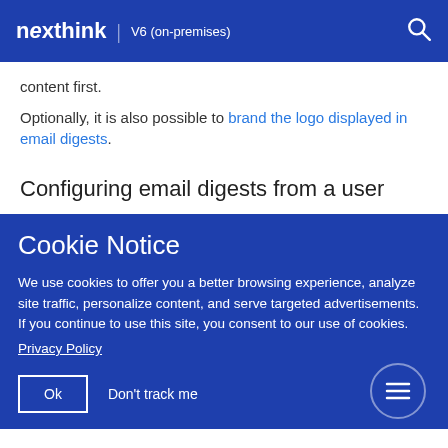nexthink | V6 (on-premises)
content first.
Optionally, it is also possible to brand the logo displayed in email digests.
Configuring email digests from a user
Cookie Notice
We use cookies to offer you a better browsing experience, analyze site traffic, personalize content, and serve targeted advertisements. If you continue to use this site, you consent to our use of cookies.
Privacy Policy
Ok   Don't track me